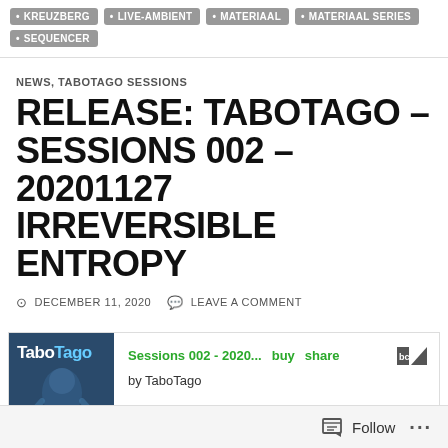KREUZBERG
LIVE-AMBIENT
MATERIAAL
MATERIAAL SERIES
SEQUENCER
NEWS, TABOTAGO SESSIONS
RELEASE: TABOTAGO – SESSIONS 002 – 20201127 IRREVERSIBLE ENTROPY
DECEMBER 11, 2020   LEAVE A COMMENT
[Figure (screenshot): Bandcamp embedded player showing 'Sessions 002 - 2020...' by TaboTago with buy, share buttons and Bandcamp logo. Album art shows the TaboTago logo on a dark blue background with an artistic figure.]
Follow   ...